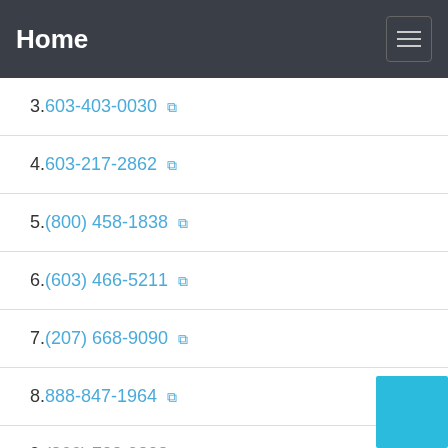Home
3. 603-403-0030
4. 603-217-2862
5. (800) 458-1838
6. (603) 466-5211
7. (207) 668-9090
8. 888-847-1964
9. (866) 702-9803
10. 603-788-4850